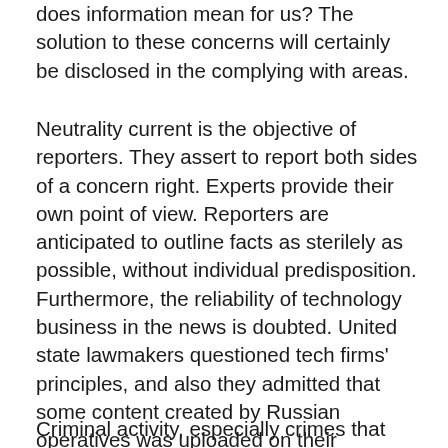does information mean for us? The solution to these concerns will certainly be disclosed in the complying with areas.
Neutrality current is the objective of reporters. They assert to report both sides of a concern right. Experts provide their own point of view. Reporters are anticipated to outline facts as sterilely as possible, without individual predisposition. Furthermore, the reliability of technology business in the news is doubted. United state lawmakers questioned tech firms' principles, and also they admitted that some content created by Russian operatives was uploaded on their systems.
Criminal activity, especially crimes that are